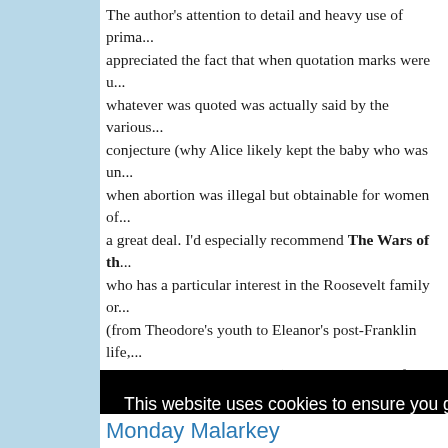The author's attention to detail and heavy use of prima... appreciated the fact that when quotation marks were u... whatever was quoted was actually said by the various... conjecture (why Alice likely kept the baby who was un... when abortion was illegal but obtainable for women of... a great deal. I'd especially recommend The Wars of th... who has a particular interest in the Roosevelt family or... (from Theodore's youth to Eleanor's post-Franklin life,... modern Roosevelt gathering). Although some of what... specific events was glossed over because the focus w... relationships within this political family, I really enjoyed...
This website uses cookies to ensure you get the best experience on our website.
Learn more
Got it!
Monday Malarkey